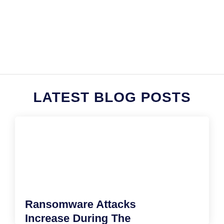LATEST BLOG POSTS
Ransomware Attacks Increase During The